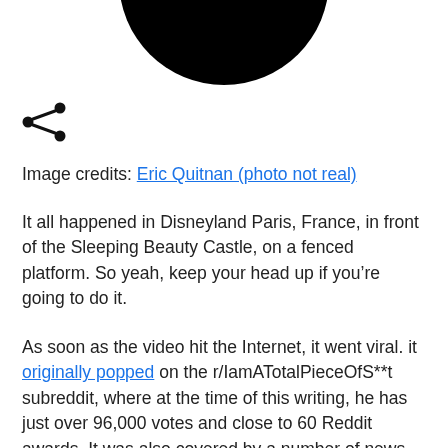[Figure (illustration): Bottom portion of a black circular profile picture or avatar, cropped at the top of the page]
[Figure (other): Share icon (less-than symbol with three dots) in black]
Image credits: Eric Quitnan (photo not real)
It all happened in Disneyland Paris, France, in front of the Sleeping Beauty Castle, on a fenced platform. So yeah, keep your head up if you’re going to do it.
As soon as the video hit the Internet, it went viral. it originally popped on the r/IamATotalPieceOfS**t subreddit, where at the time of this writing, he has just over 96,000 votes and close to 60 Reddit awards. It was also covered by a number of news